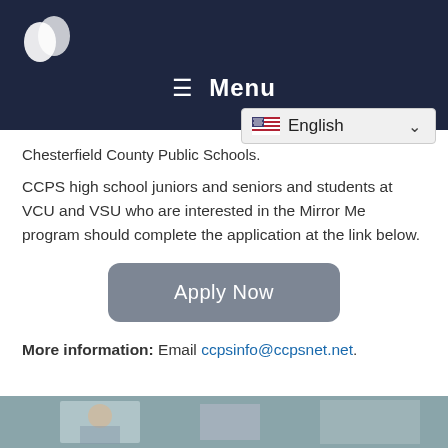Menu
... Chesterfield County Public Schools.
CCPS high school juniors and seniors and students at VCU and VSU who are interested in the Mirror Me program should complete the application at the link below.
[Figure (screenshot): Apply Now button - grey rounded rectangle button with white text]
More information: Email ccpsinfo@ccpsnet.net.
[Figure (photo): Partial photo strip at the bottom of the page showing students]